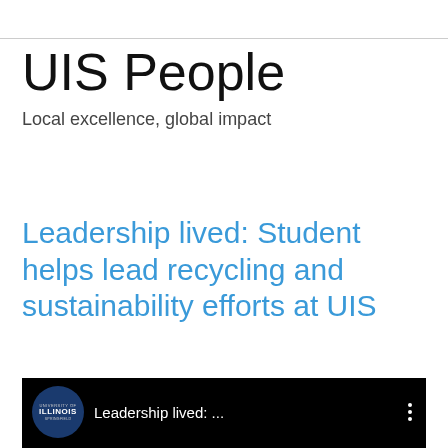UIS People
Local excellence, global impact
Friday, March 29, 2019
Leadership lived: Student helps lead recycling and sustainability efforts at UIS
[Figure (screenshot): YouTube-style video embed with University of Illinois Springfield logo circle, title 'Leadership lived: ...' and three-dot menu icon on black background]